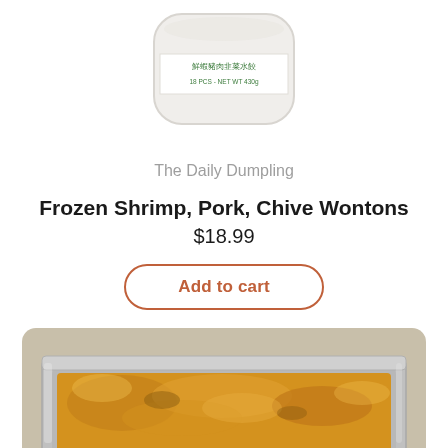[Figure (photo): Partial view of a white octagonal container of frozen wontons with Chinese text and green label reading '18 PCS - NET WT 430g']
The Daily Dumpling
Frozen Shrimp, Pork, Chive Wontons
$18.99
[Figure (other): Add to cart button with rounded border in orange-brown color]
[Figure (photo): Photo of cooked wontons in an aluminum foil tray, golden-brown on top, partially visible]